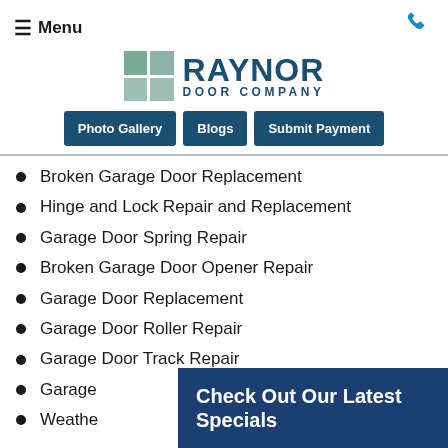≡ Menu
[Figure (logo): Raynor Door Company logo with teal grid icon and dark blue text]
Photo Gallery | Blogs | Submit Payment
Broken Garage Door Replacement
Hinge and Lock Repair and Replacement
Garage Door Spring Repair
Broken Garage Door Opener Repair
Garage Door Replacement
Garage Door Roller Repair
Garage Door Track Repair
Garage
Weathe
Check Out Our Latest Specials